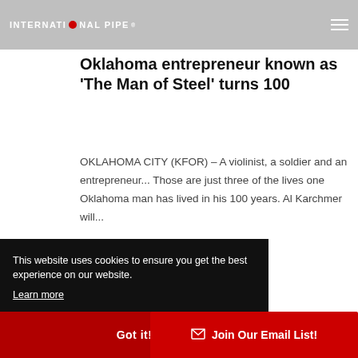INTERNATIONAL PIPE
Oklahoma entrepreneur known as 'The Man of Steel' turns 100
OKLAHOMA CITY (KFOR) – A violinist, a soldier and an entrepreneur... Those are just three of the lives one Oklahoma man has lived in his 100 years. Al Karchmer will...
READ MORE →
in News
Al
International Pipe & Supply, LLC, a
This website uses cookies to ensure you get the best experience on our website. Learn more
Got it!
Join Our Email List!